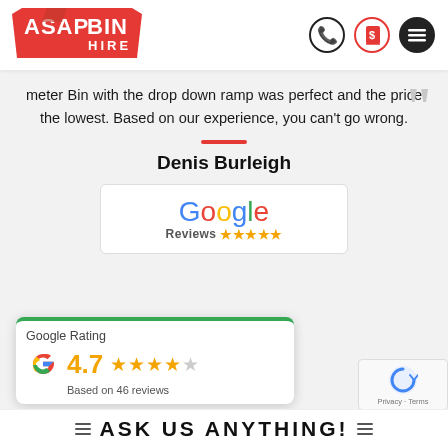[Figure (logo): ASAP BIN HIRE logo — red angular badge shape with white bold text ASAP and BIN HIRE below]
[Figure (other): Three circular icons on the right side of the header: phone icon (black border), dollar/receipt icon (red border), and hamburger menu icon (black filled)]
meter Bin with the drop down ramp was perfect and the price the lowest. Based on our experience, you can't go wrong.
Denis Burleigh
[Figure (logo): Google Reviews logo with colorful Google text and five gold stars]
[Figure (other): Google Rating widget showing 4.7 stars based on 46 reviews with Google G logo]
ASK US ANYTHING!